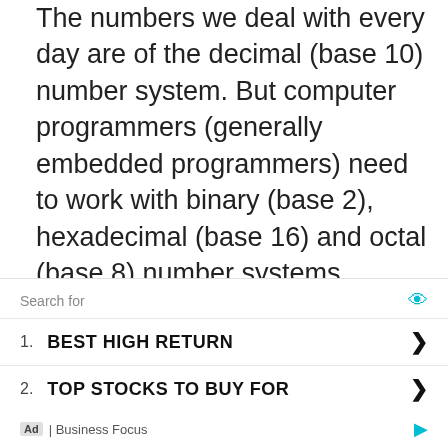The numbers we deal with every day are of the decimal (base 10) number system. But computer programmers (generally embedded programmers) need to work with binary (base 2), hexadecimal (base 16) and octal (base 8) number systems.

In Python, we can represent these numbers by appropriately placing a prefix before that number. The following table lists these prefixes.
[Figure (other): Advertisement block with 'Search for' header, eye icon, two items: 1. BEST HIGH RETURN, 2. TOP STOCKS TO BUY FOR, with chevron arrows and 'Ad | Business Focus' footer with play icon.]